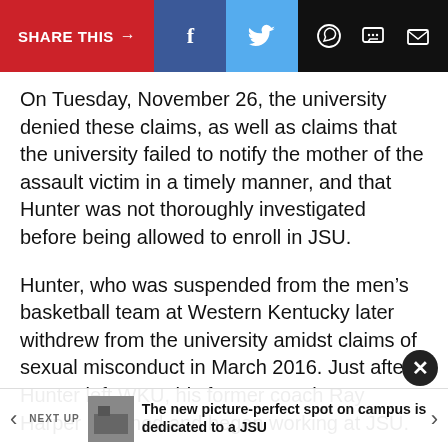SHARE THIS → f (Facebook) (Twitter) (WhatsApp) (Message) (Email)
On Tuesday, November 26, the university denied these claims, as well as claims that the university failed to notify the mother of the assault victim in a timely manner, and that Hunter was not thoroughly investigated before being allowed to enroll in JSU.
Hunter, who was suspended from the men's basketball team at Western Kentucky later withdrew from the university amidst claims of sexual misconduct in March 2016. Just after Hunter left WKU, his former coach Ray Harper resigned and began working at JSU.
The university's response states that Harper disclosed why he resigned from WKU, and that it was unrelated to Hunter, and dedicated to a JSU…
NEXT UP  The new picture-perfect spot on campus is dedicated to a JSU…